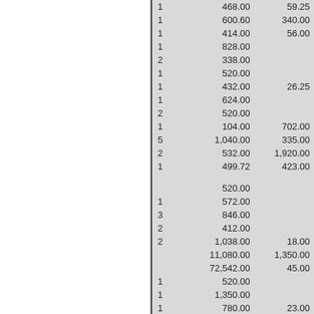|  | Amount | Other |
| --- | --- | --- |
| 1 | 468.00 | 59.25 |
| 1 | 600.60 | 340.00 |
| 1 | 414.00 | 56.00 |
| 1 | 828.00 |  |
| 2 | 338.00 |  |
| 1 | 520.00 |  |
| 1 | 432.00 | 26.25 |
| 1 | 624.00 |  |
| 2 | 520.00 |  |
| 1 | 104.00 | 702.00 |
| 5 | 1,040.00 | 335.00 |
| 2 | 532.00 | 1,920.00 |
| 1 | 499.72 | 423.00 |
|  |  |  |
|  | 520.00 |  |
| 1 | 572.00 |  |
| 3 | 846.00 |  |
| 2 | 412.00 |  |
| 2 | 1,038.00 | 18.00 |
|  | 11,080.00 | 1,350.00 |
|  | 72,542.00 | 45.00 |
| 1 | 520.00 |  |
| 1 | 1,350.00 |  |
| 1 | 780.00 | 23.00 |